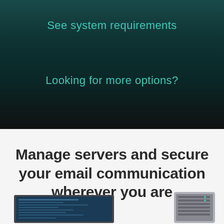See system requirements
Looking for more options?
Manage servers and secure your email communication wherever you are
[Figure (screenshot): Partial view of a laptop/monitor screen showing a dark interface on the left, and a server device on the right, both partially cut off at the bottom of the page.]